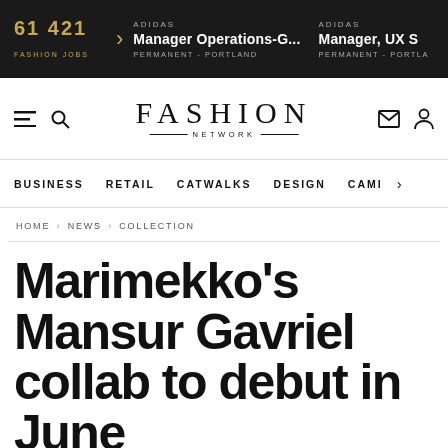61 421 FASHION JOBS | ADIDAS Manager Operations-G... PERMANENT - PORTLAND | ADIDAS Manager, UX S PERMANENT - PORTLA
[Figure (logo): FASHION NETWORK logo with decorative lines]
BUSINESS  RETAIL  CATWALKS  DESIGN  CAMI >
HOME › NEWS › COLLECTION
Marimekko's Mansur Gavriel collab to debut in June